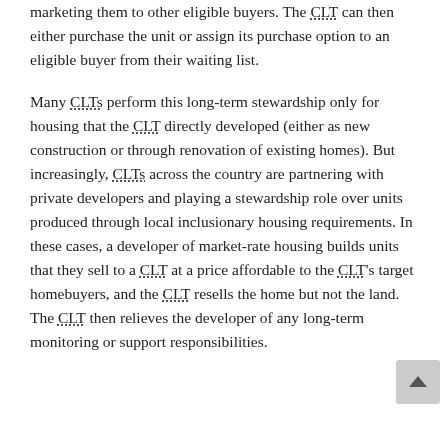marketing them to other eligible buyers. The CLT can then either purchase the unit or assign its purchase option to an eligible buyer from their waiting list.
Many CLTs perform this long-term stewardship only for housing that the CLT directly developed (either as new construction or through renovation of existing homes). But increasingly, CLTs across the country are partnering with private developers and playing a stewardship role over units produced through local inclusionary housing requirements. In these cases, a developer of market-rate housing builds units that they sell to a CLT at a price affordable to the CLT's target homebuyers, and the CLT resells the home but not the land. The CLT then relieves the developer of any long-term monitoring or support responsibilities.